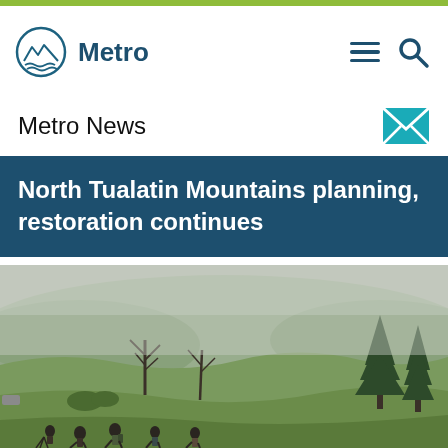Metro
Metro News
North Tualatin Mountains planning, restoration continues
[Figure (photo): People walking through a misty green field with bare trees and evergreen trees in the background at the North Tualatin Mountains. The scene is foggy and overcast with rolling hills visible in the distance.]